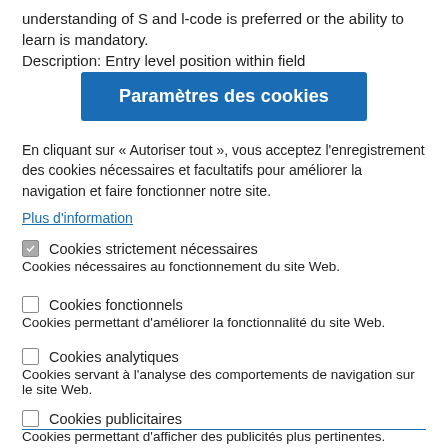understanding of S and l-code is preferred or the ability to learn is mandatory.
Description: Entry level position within field
Paramètres des cookies
En cliquant sur « Autoriser tout », vous acceptez l'enregistrement des cookies nécessaires et facultatifs pour améliorer la navigation et faire fonctionner notre site.
Plus d'information
Cookies strictement nécessaires
Cookies nécessaires au fonctionnement du site Web.
Cookies fonctionnels
Cookies permettant d'améliorer la fonctionnalité du site Web.
Cookies analytiques
Cookies servant à l'analyse des comportements de navigation sur le site Web.
Cookies publicitaires
Cookies permettant d'afficher des publicités plus pertinentes.